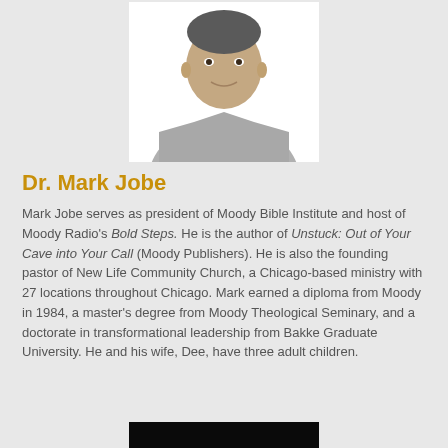[Figure (photo): Headshot photo of Dr. Mark Jobe, a middle-aged man wearing a grey jacket and black turtleneck, smiling against a white background]
Dr. Mark Jobe
Mark Jobe serves as president of Moody Bible Institute and host of Moody Radio's Bold Steps. He is the author of Unstuck: Out of Your Cave into Your Call (Moody Publishers). He is also the founding pastor of New Life Community Church, a Chicago-based ministry with 27 locations throughout Chicago. Mark earned a diploma from Moody in 1984, a master's degree from Moody Theological Seminary, and a doctorate in transformational leadership from Bakke Graduate University. He and his wife, Dee, have three adult children.
[Figure (photo): Bottom partial image, black bar at bottom of page]